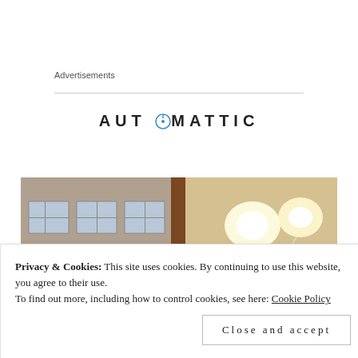Advertisements
[Figure (logo): Automattic company logo with compass icon replacing the letter O]
[Figure (photo): Interior photo of a building showing brick walls, wooden beams, windows, and bright ceiling lights]
Privacy & Cookies: This site uses cookies. By continuing to use this website, you agree to their use.
To find out more, including how to control cookies, see here: Cookie Policy
Close and accept